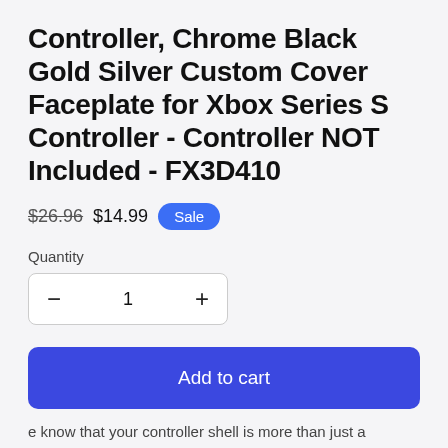Controller, Chrome Black Gold Silver Custom Cover Faceplate for Xbox Series S Controller - Controller NOT Included - FX3D410
$26.96 $14.99 Sale
Quantity
- 1 +
Add to cart
Rewards
e know that your controller shell is more than just a